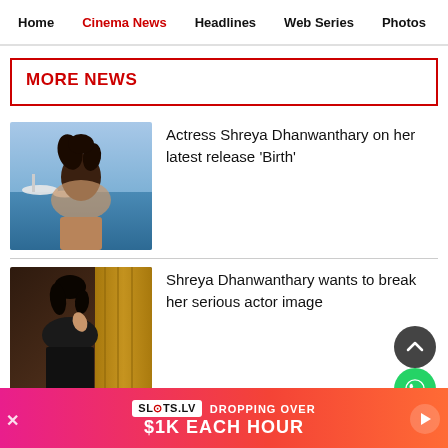Home | Cinema News | Headlines | Web Series | Photos
MORE NEWS
[Figure (photo): Photo of actress Shreya Dhanwanthary outdoors near water with boats in background, hair blowing in wind]
Actress Shreya Dhanwanthary on her latest release 'Birth'
[Figure (photo): Photo of Shreya Dhanwanthary in a dark outfit against curtain background]
Shreya Dhanwanthary wants to break her serious actor image
[Figure (other): Advertisement banner: SLOTS.LV - DROPPING OVER $1K EACH HOUR]